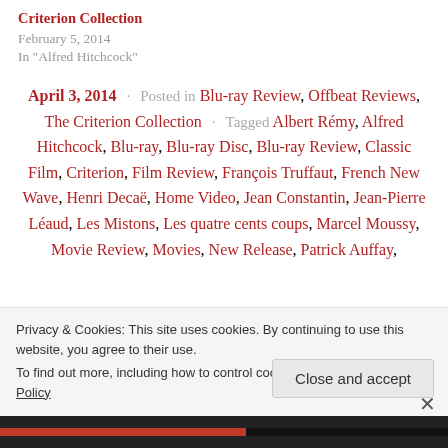Criterion Collection
February 5, 2014
In "Alfred Hitchcock"
April 3, 2014 · Posted in Blu-ray Review, Offbeat Reviews, The Criterion Collection · Tagged Albert Rémy, Alfred Hitchcock, Blu-ray, Blu-ray Disc, Blu-ray Review, Classic Film, Criterion, Film Review, François Truffaut, French New Wave, Henri Decaë, Home Video, Jean Constantin, Jean-Pierre Léaud, Les Mistons, Les quatre cents coups, Marcel Moussy, Movie Review, Movies, New Release, Patrick Auffay
Privacy & Cookies: This site uses cookies. By continuing to use this website, you agree to their use.
To find out more, including how to control cookies, see here: Cookie Policy
Close and accept